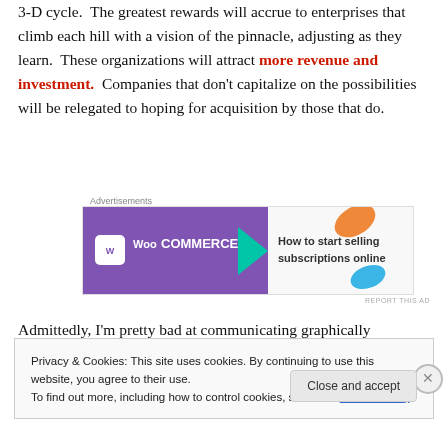3-D cycle. The greatest rewards will accrue to enterprises that climb each hill with a vision of the pinnacle, adjusting as they learn. These organizations will attract more revenue and investment. Companies that don't capitalize on the possibilities will be relegated to hoping for acquisition by those that do.
[Figure (other): WooCommerce advertisement banner: purple background with WooCommerce logo and text 'How to start selling subscriptions online', with teal and orange decorative shapes.]
Admittedly, I'm pretty bad at communicating graphically
Privacy & Cookies: This site uses cookies. By continuing to use this website, you agree to their use.
To find out more, including how to control cookies, see here: Cookie Policy